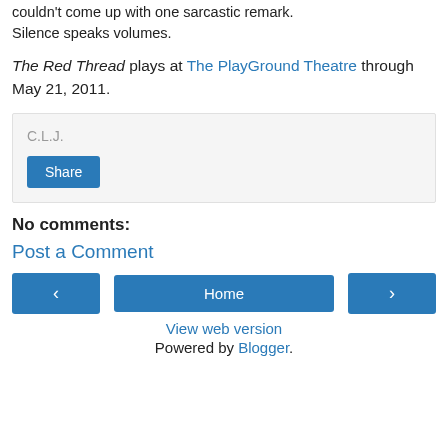couldn't come up with one sarcastic remark. Silence speaks volumes.
The Red Thread plays at The PlayGround Theatre through May 21, 2011.
C.L.J.
Share
No comments:
Post a Comment
‹
Home
›
View web version
Powered by Blogger.